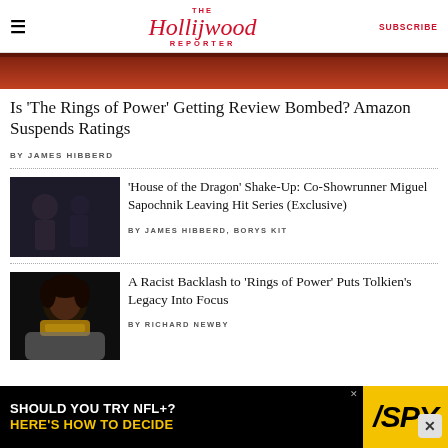The Hollywood Reporter | SUBSCRIBE
[Figure (photo): Hero image strip — reddish-brown dramatic scene from a fantasy production]
Is 'The Rings of Power' Getting Review Bombed? Amazon Suspends Ratings
BY JAMES HIBBERD
[Figure (photo): Two people in a confrontational scene — House of the Dragon production still]
'House of the Dragon' Shake-Up: Co-Showrunner Miguel Sapochnik Leaving Hit Series (Exclusive)
BY JAMES HIBBERD, BORYS KIT
[Figure (photo): A Black woman in regal fantasy costume with elaborate gold necklace — Rings of Power]
A Racist Backlash to 'Rings of Power' Puts Tolkien's Legacy Into Focus
BY RICHARD NEWBY
[Figure (infographic): Ad banner: SHOULD YOU TRY NFL+? HERE'S HOW TO DECIDE — SPY logo]